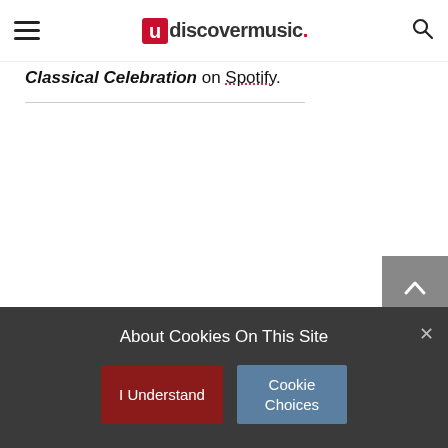uDiscoverMusic
Classical Celebration on Spotify.
About Cookies On This Site
I Understand
Cookie Choices